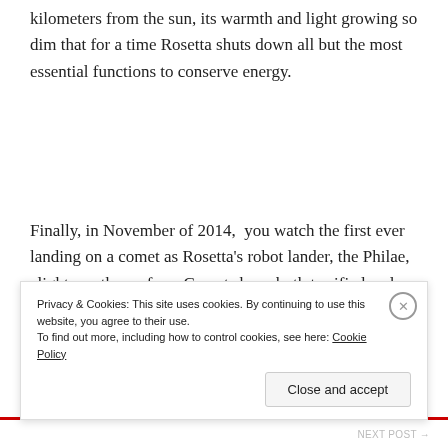kilometers from the sun, its warmth and light growing so dim that for a time Rosetta shuts down all but the most essential functions to conserve energy.
Finally, in November of 2014, you watch the first ever landing on a comet as Rosetta's robot lander, the Philae, alights on the surface. Comets have both terrified and fascinated humankind for millennia, and now, humans
Privacy & Cookies: This site uses cookies. By continuing to use this website, you agree to their use.
To find out more, including how to control cookies, see here: Cookie Policy
NEXT POST →